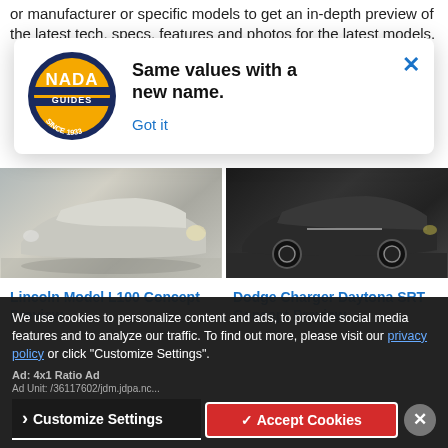or manufacturer or specific models to get an in-depth preview of the latest tech, specs, features and photos for the latest models.
[Figure (screenshot): NADA Guides popup notification with logo, headline 'Same values with a new name.', 'Got it' link, and X close button]
[Figure (photo): Lincoln Model L100 Concept car - silver futuristic vehicle rear view]
[Figure (photo): Dodge Charger Daytona SRT Concept car - dark muscle car side view]
Lincoln Model L100 Concept Preview
Dodge Charger Daytona SRT Concept Preview
We use cookies to personalize content and ads, to provide social media features and to analyze our traffic. To find out more, please visit our privacy policy or click "Customize Settings".
Ad: 4x1 Ratio Ad
Ad Unit: /36117602/jdm.jdpa.nc...
Customize Settings
✓ Accept Cookies